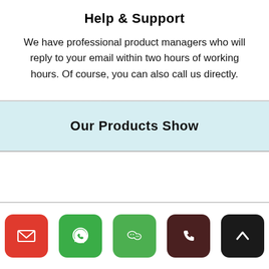Help & Support
We have professional product managers who will reply to your email within two hours of working hours. Of course, you can also call us directly.
Our Products Show
[Figure (infographic): Bottom navigation bar with four colored icon buttons: red email, green WhatsApp, green WeChat, dark brown phone, and a dark up-arrow button]